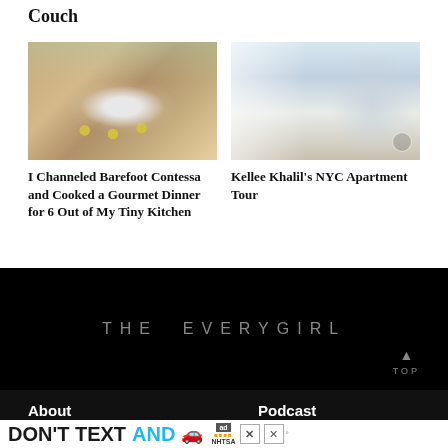Couch
[Figure (photo): Photo of a salmon dish with herbs and lemon garnish on a white platter, on a dining table with flowers]
[Figure (photo): Photo of a modern NYC apartment living room with white decor, glass coffee table, and a dog]
I Channeled Barefoot Contessa and Cooked a Gourmet Dinner for 6 Out of My Tiny Kitchen
Kellee Khalil's NYC Apartment Tour
THE EVERYGIRL
TOP
About
Podcast
[Figure (photo): DON'T TEXT AND drive advertisement banner with car emoji, ad badge, and NHTSA logo]